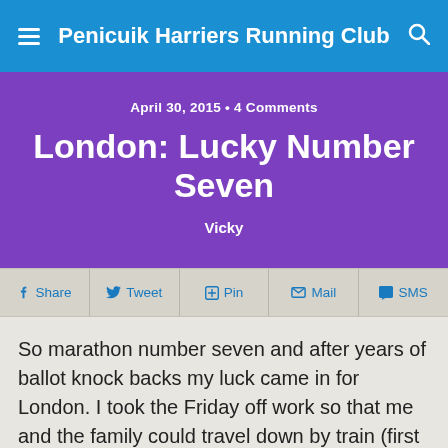Penicuik Harriers Running Club
April 30, 2015 • 4 Comments
London: Lucky Number Seven
Vicky
Share  Tweet  Pin  Mail  SMS
So marathon number seven and after years of ballot knock backs my luck came in for London. I took the Friday off work so that me and the family could travel down by train (first class!) to the big smoke.
Friday afternoon in the expo was nice and quiet so I didnt have to que for anything. The kids occupied